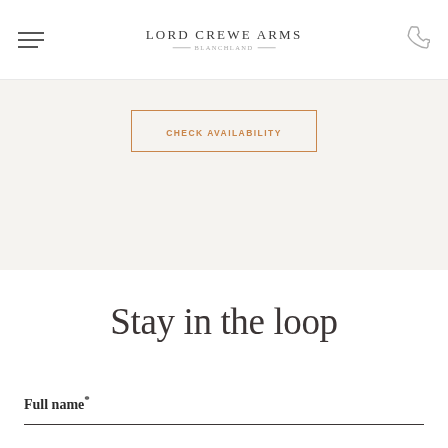Lord Crewe Arms Blanchland
CHECK AVAILABILITY
Stay in the loop
Full name*